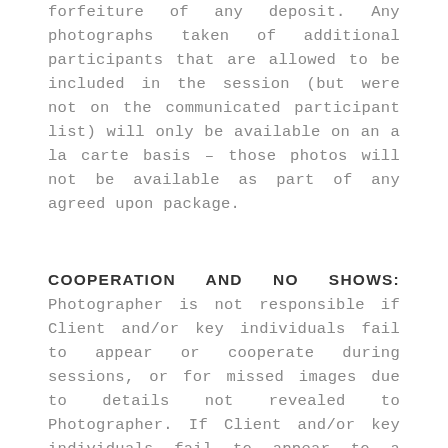forfeiture of any deposit. Any photographs taken of additional participants that are allowed to be included in the session (but were not on the communicated participant list) will only be available on an a la carte basis – those photos will not be available as part of any agreed upon package.
COOPERATION AND NO SHOWS:
Photographer is not responsible if Client and/or key individuals fail to appear or cooperate during sessions, or for missed images due to details not revealed to Photographer. If Client and/or key individuals fail to appear to a scheduled session, the 50% deposit is non-refundable. If client does not appear for a scheduled session...